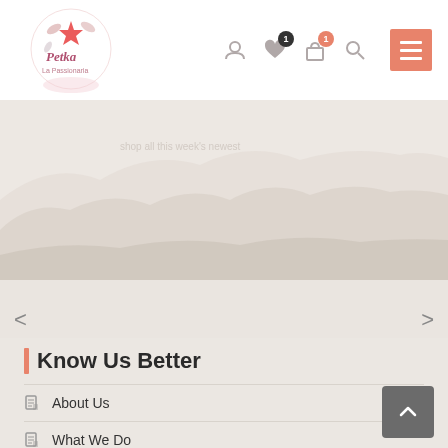[Figure (logo): Petka brand logo with floral/star decoration and cursive text]
[Figure (illustration): Navigation icons: user, heart with badge 1, shopping bag with badge 1, search, and salmon-colored hamburger menu button]
[Figure (illustration): Hero banner with mountain/landscape silhouette in beige/taupe tones]
[Figure (illustration): Carousel left arrow < and right arrow >]
Know Us Better
About Us
What We Do
In the News
Our Brands